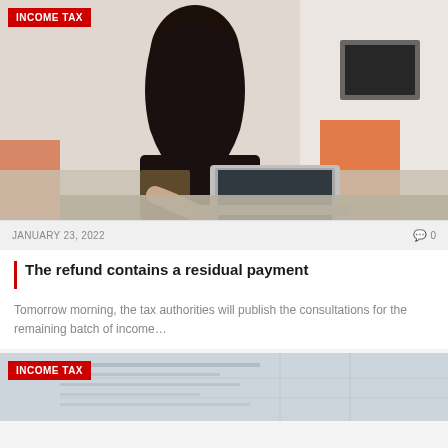[Figure (photo): Woman wearing hijab and traditional dress working on a laptop in an office with orange chairs]
INCOME TAX
JANUARY 23, 2022
0
The refund contains a residual payment
Tomorrow morning, the tax authorities will publish the consultations for the remaining batch of income…
[Figure (photo): Close-up of documents or financial papers on a desk]
INCOME TAX